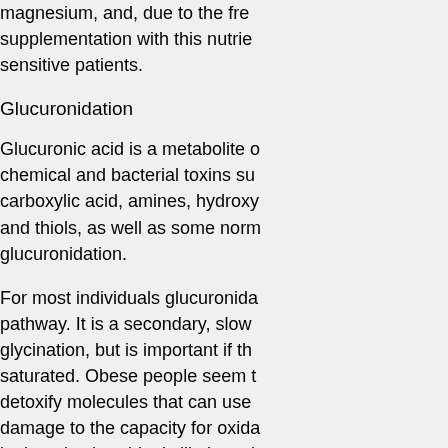magnesium, and, due to the frequent supplementation with this nutrient in sensitive patients.
Glucuronidation
Glucuronic acid is a metabolite of chemical and bacterial toxins such as carboxylic acid, amines, hydroxy and thiols, as well as some normal glucuronidation.
For most individuals glucuronidation pathway. It is a secondary, slower glycination, but is important if the saturated. Obese people seem to detoxify molecules that can use damage to the capacity for oxidation in the mitochondria, is likely to conjugation.
Overload
If the liver's detoxification pathways overly utilized, they eventually become poorly - being suppressed by toxins, main pathways occurs as a result shunted to lesser pathways, eventually orderly nutrient metabolism. Che followed by nutrient depletion and